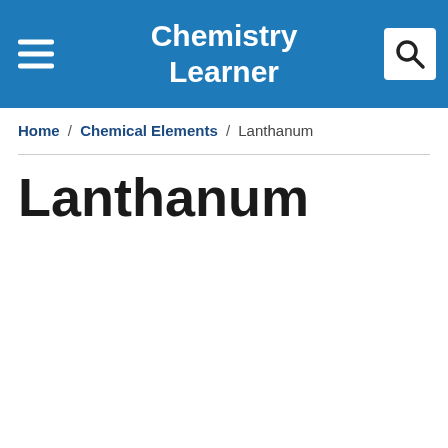Chemistry Learner
Home / Chemical Elements / Lanthanum
Lanthanum